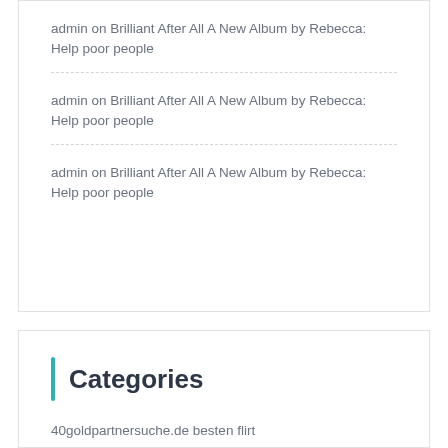admin on Brilliant After All A New Album by Rebecca: Help poor people
admin on Brilliant After All A New Album by Rebecca: Help poor people
admin on Brilliant After All A New Album by Rebecca: Help poor people
Categories
40goldpartnersuche.de besten flirt